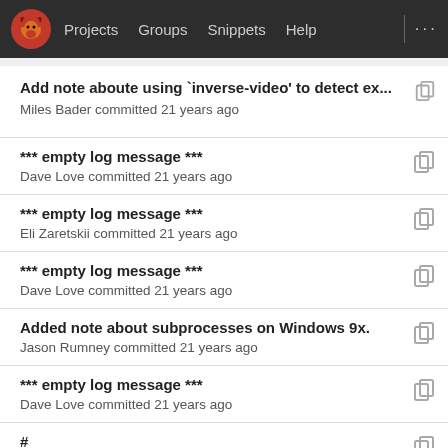Projects  Groups  Snippets  Help
Add note aboute using `inverse-video' to detect ex...
Miles Bader committed 21 years ago
*** empty log message ***
Dave Love committed 21 years ago
*** empty log message ***
Eli Zaretskii committed 21 years ago
*** empty log message ***
Dave Love committed 21 years ago
Added note about subprocesses on Windows 9x.
Jason Rumney committed 21 years ago
*** empty log message ***
Dave Love committed 21 years ago
#
André Spiegel committed 21 years ago